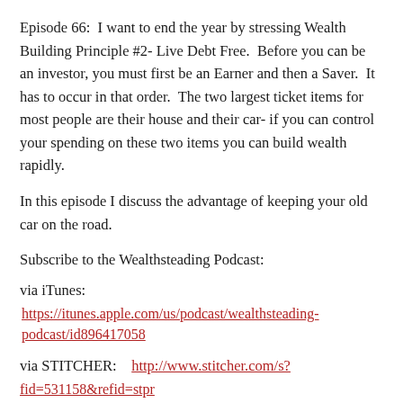Episode 66:  I want to end the year by stressing Wealth Building Principle #2- Live Debt Free.  Before you can be an investor, you must first be an Earner and then a Saver.  It has to occur in that order.  The two largest ticket items for most people are their house and their car- if you can control your spending on these two items you can build wealth rapidly.
In this episode I discuss the advantage of keeping your old car on the road.
Subscribe to the Wealthsteading Podcast:
via iTunes:
https://itunes.apple.com/us/podcast/wealthsteading-podcast/id896417058
via STITCHER:    http://www.stitcher.com/s?fid=531158&refid=stpr